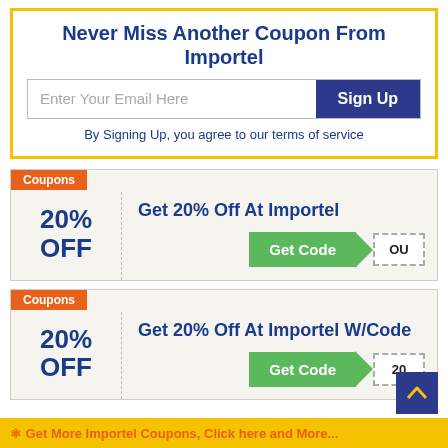Never Miss Another Coupon From Importel
Enter Your Email Here
Sign Up
By Signing Up, you agree to our terms of service
Coupons
Get 20% Off At Importel
20% OFF
Get Code  OU
Coupons
Get 20% Off At Importel W/Code
20% OFF
Get Code  20